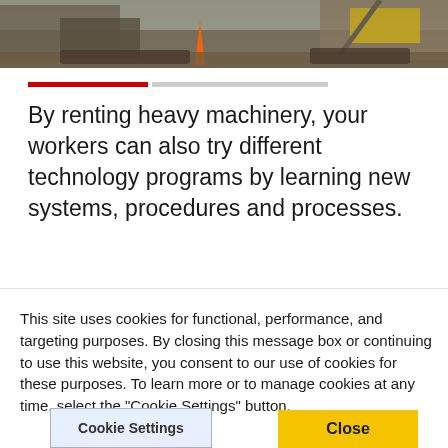[Figure (photo): Construction site with heavy machinery (excavators/bulldozers) cropped at the top of the page]
By renting heavy machinery, your workers can also try different technology programs by learning new systems, procedures and processes.
This site uses cookies for functional, performance, and targeting purposes. By closing this message box or continuing to use this website, you consent to our use of cookies for these purposes. To learn more or to manage cookies at any time, select the "Cookie Settings" button.